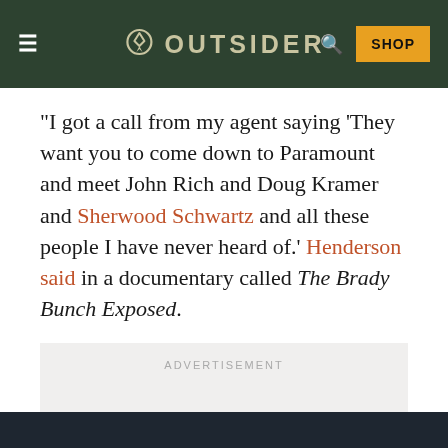OUTSIDER
“I got a call from my agent saying ‘They want you to come down to Paramount and meet John Rich and Doug Kramer and Sherwood Schwartz and all these people I have never heard of.’ Henderson said in a documentary called The Brady Bunch Exposed.
[Figure (other): Advertisement placeholder box with label ADVERTISEMENT]